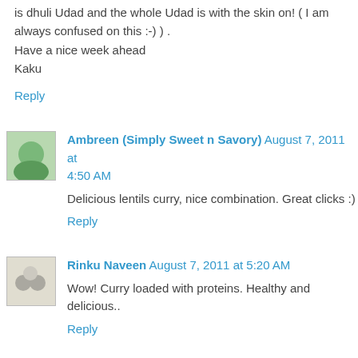is dhuli Udad and the whole Udad is with the skin on! ( I am always confused on this :-) ) .
Have a nice week ahead
Kaku
Reply
Ambreen (Simply Sweet n Savory) August 7, 2011 at 4:50 AM
Delicious lentils curry, nice combination. Great clicks :)
Reply
Rinku Naveen August 7, 2011 at 5:20 AM
Wow! Curry loaded with proteins. Healthy and delicious..
Reply
Archana August 7, 2011 at 5:23 AM